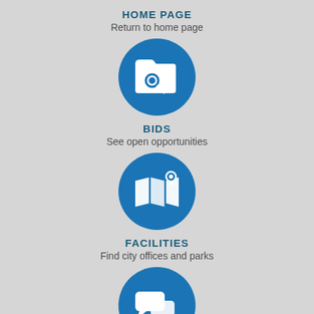HOME PAGE
Return to home page
[Figure (infographic): Blue circle with folder/search icon representing Bids]
BIDS
See open opportunities
[Figure (infographic): Blue circle with map/location pin icon representing Facilities]
FACILITIES
Find city offices and parks
[Figure (infographic): Blue circle with speech bubbles icon representing contact/chat]